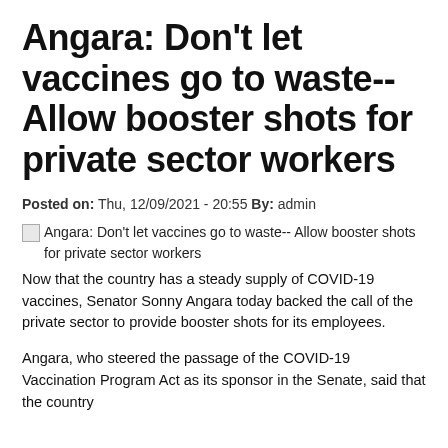Angara: Don't let vaccines go to waste-- Allow booster shots for private sector workers
Posted on: Thu, 12/09/2021 - 20:55 By: admin
[Figure (photo): Broken image placeholder with caption: Angara: Don't let vaccines go to waste-- Allow booster shots for private sector workers]
Now that the country has a steady supply of COVID-19 vaccines, Senator Sonny Angara today backed the call of the private sector to provide booster shots for its employees.
Angara, who steered the passage of the COVID-19 Vaccination Program Act as its sponsor in the Senate, said that the country